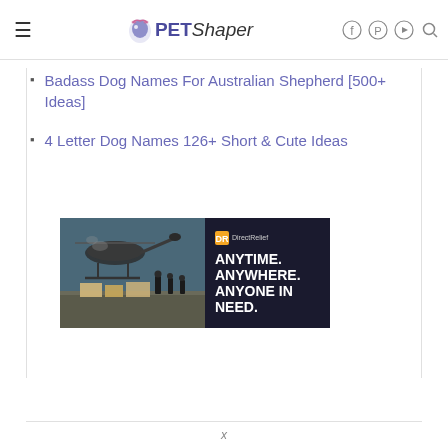PetShaper navigation header with hamburger menu, logo, and social icons (Facebook, Pinterest, YouTube, Search)
Badass Dog Names For Australian Shepherd [500+ Ideas]
4 Letter Dog Names 126+ Short & Cute Ideas
[Figure (photo): Direct Relief charity advertisement banner showing helicopter scene on left and 'ANYTIME. ANYWHERE. ANYONE IN NEED.' text with DirectRelief logo on dark background on right]